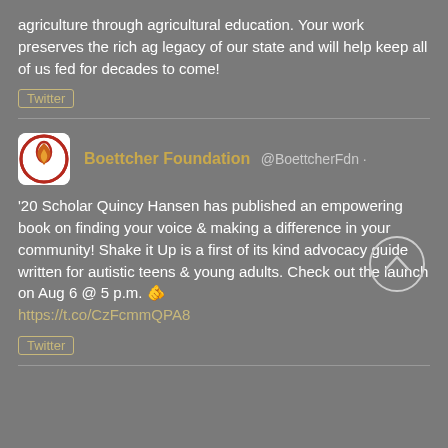agriculture through agricultural education. Your work preserves the rich ag legacy of our state and will help keep all of us fed for decades to come!
Twitter
[Figure (logo): Boettcher Foundation logo: circular badge with red border and flame icon]
Boettcher Foundation @BoettcherFdn ·
'20 Scholar Quincy Hansen has published an empowering book on finding your voice & making a difference in your community! Shake it Up is a first of its kind advocacy guide written for autistic teens & young adults. Check out the launch on Aug 6 @ 5 p.m. 👉 https://t.co/CzFcmmQPA8
Twitter